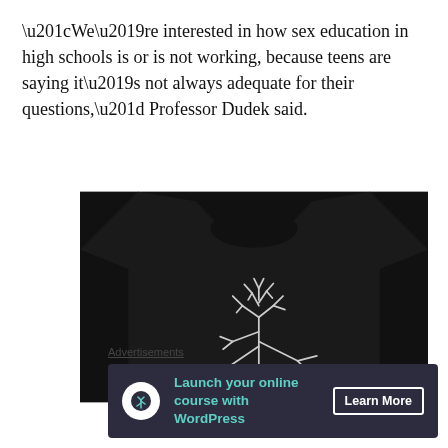“We’re interested in how sex education in high schools is or is not working, because teens are saying it’s not always adequate for their questions,” Professor Dudek said.
[Figure (photo): Black t-shirt with a white hand-drawn tree/branch illustration on the front, shown flat lay on white background.]
Advertisements
[Figure (infographic): Advertisement banner: dark navy background with a WordPress online course logo icon (white circle with tree icon), teal text 'Launch your online course with WordPress', and a white 'Learn More' button.]